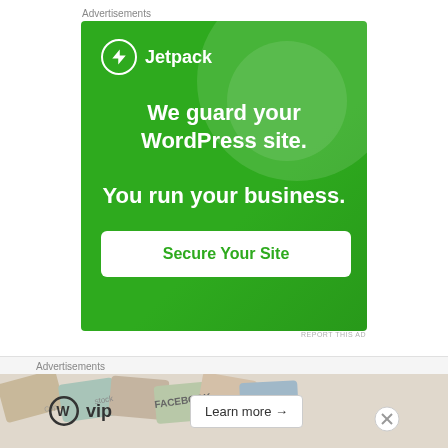Advertisements
[Figure (illustration): Jetpack WordPress security advertisement banner. Green background with large white circle decorative elements. Shows Jetpack logo (lightning bolt in circle) with text: 'We guard your WordPress site. You run your business.' and a 'Secure Your Site' button.]
REPORT THIS AD
“My grandmother practically raised me and was a second mom to me, and losing her hit me hard and
Advertisements
[Figure (illustration): WordPress VIP advertisement banner with colorful card/book imagery in background. Shows WordPress W logo, 'vip' text, and a 'Learn more →' button.]